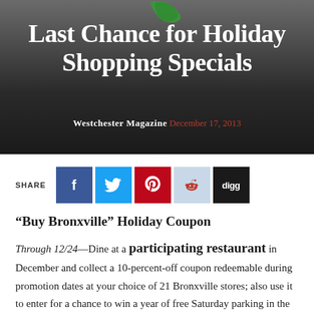[Figure (illustration): Dark gradient header background with partial green stylized logo/letter at top center]
Last Chance for Holiday Shopping Specials
Westchester Magazine December 17, 2013
[Figure (infographic): Social share buttons: Facebook (blue), Twitter (blue), Pinterest (red), Reddit (light blue), Digg (black)]
“Buy Bronxville” Holiday Coupon
Through 12/24—Dine at a participating restaurant in December and collect a 10-percent-off coupon redeemable during promotion dates at your choice of 21 Bronxville stores; also use it to enter for a chance to win a year of free Saturday parking in the